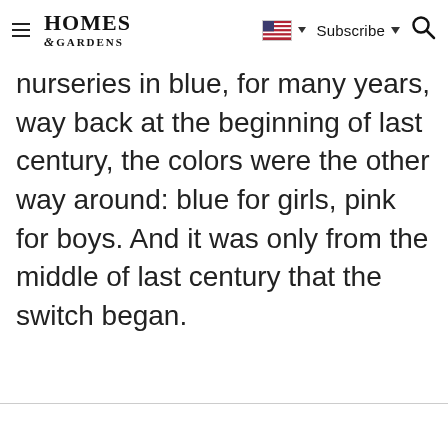Homes & Gardens — Subscribe [flag icon] [search icon]
nurseries in blue, for many years, way back at the beginning of last century, the colors were the other way around: blue for girls, pink for boys. And it was only from the middle of last century that the switch began.